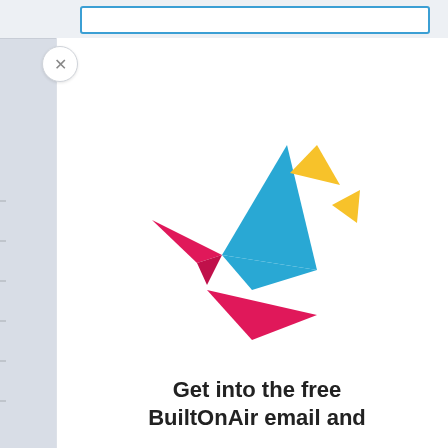[Figure (logo): BuiltOnAir logo: a geometric origami-style bird made of colorful tangram shapes — cyan/teal triangle for body, magenta/pink triangles for wings and tail, yellow triangles for the head and wing tip]
Get into the free BuiltOnAir email and